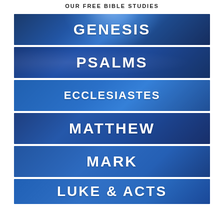OUR FREE BIBLE STUDIES
[Figure (illustration): Banner with blue globe/light background and white bold text reading GENESIS]
[Figure (illustration): Banner with blue manuscript/scripture background and white bold text reading PSALMS]
[Figure (illustration): Banner with blue library/bookshelf background and white bold text reading ECCLESIASTES]
[Figure (illustration): Banner with blue background and white bold text reading MATTHEW]
[Figure (illustration): Banner with blue open Bible pages background and white bold text reading MARK]
[Figure (illustration): Banner with blue background and white bold text reading LUKE & ACTS (partially visible)]